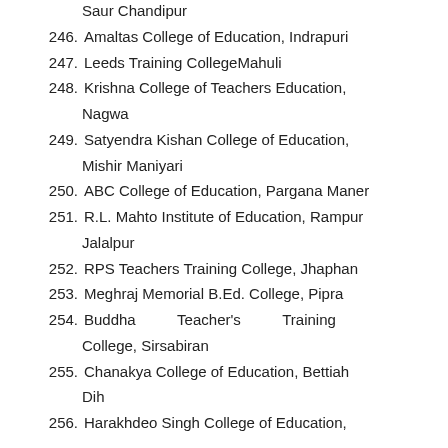Saur Chandipur
246. Amaltas College of Education, Indrapuri
247. Leeds Training CollegeMahuli
248. Krishna College of Teachers Education, Nagwa
249. Satyendra Kishan College of Education, Mishir Maniyari
250. ABC College of Education, Pargana Maner
251. R.L. Mahto Institute of Education, Rampur Jalalpur
252. RPS Teachers Training College, Jhaphan
253. Meghraj Memorial B.Ed. College, Pipra
254. Buddha Teacher's Training College, Sirsabiran
255. Chanakya College of Education, Bettiah Dih
256. Harakhdeo Singh College of Education,